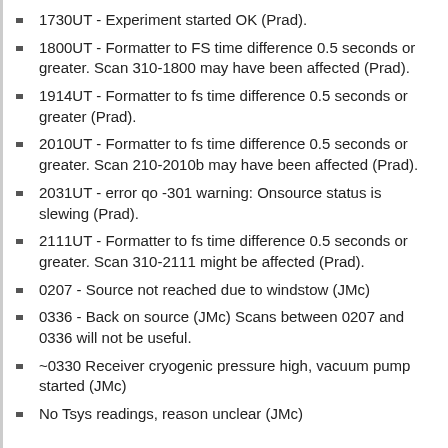1730UT - Experiment started OK (Prad).
1800UT - Formatter to FS time difference 0.5 seconds or greater. Scan 310-1800 may have been affected (Prad).
1914UT - Formatter to fs time difference 0.5 seconds or greater (Prad).
2010UT - Formatter to fs time difference 0.5 seconds or greater. Scan 210-2010b may have been affected (Prad).
2031UT - error qo -301 warning: Onsource status is slewing (Prad).
2111UT - Formatter to fs time difference 0.5 seconds or greater. Scan 310-2111 might be affected (Prad).
0207 - Source not reached due to windstow (JMc)
0336 - Back on source (JMc) Scans between 0207 and 0336 will not be useful.
~0330 Receiver cryogenic pressure high, vacuum pump started (JMc)
No Tsys readings, reason unclear (JMc)